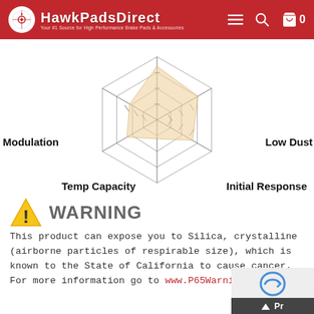HawkPadsDirect
[Figure (radar-chart): Radar chart showing brake pad performance attributes: Modulation, Low Dust, Initial Response, Temp Capacity. Filled area in light peach/cream color showing relative scores.]
WARNING
This product can expose you to Silica, crystalline (airborne particles of respirable size), which is known to the State of California to cause cancer. For more information go to www.P65Warnings.ca.gov